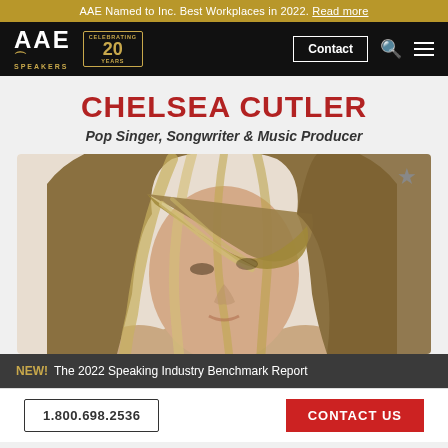AAE Named to Inc. Best Workplaces in 2022. Read more
[Figure (logo): AAE Speakers logo with 'Celebrating 20 Years' badge, Contact button, search icon and menu icon on black navigation bar]
CHELSEA CUTLER
Pop Singer, Songwriter & Music Producer
[Figure (photo): Close-up photo of Chelsea Cutler, a young woman with highlighted blonde hair partially covering her face, against a light background. A star/bookmark icon appears in the top right corner.]
NEW! The 2022 Speaking Industry Benchmark Report
1.800.698.2536   CONTACT US